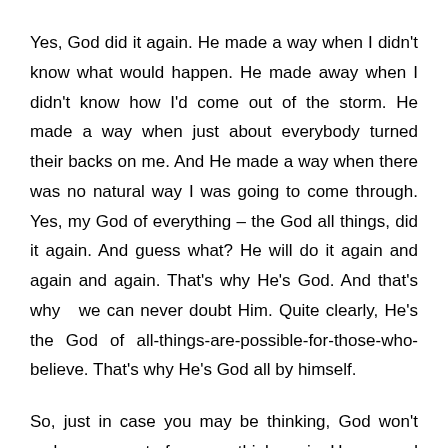Yes, God did it again. He made a way when I didn't know what would happen. He made away when I didn't know how I'd come out of the storm. He made a way when just about everybody turned their backs on me. And He made a way when there was no natural way I was going to come through. Yes, my God of everything – the God all things, did it again. And guess what? He will do it again and again and again. That's why He's God. And that's why  we can never doubt Him. Quite clearly, He's the God of all-things-are-possible-for-those-who-believe. That's why He's God all by himself.
So, just in case you may be thinking, God won't make a way out of no way, think again. He can and will bring you out of and through anything. I remember a time when my nights were long and depressing and I felt alone, but God moved in my life. He brought me out of that darkness and He will do it for you too. If you are in